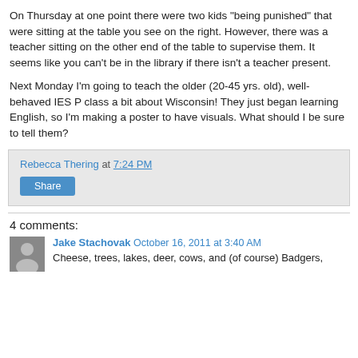On Thursday at one point there were two kids "being punished" that were sitting at the table you see on the right.  However, there was a teacher sitting on the other end of the table to supervise them.  It seems like you can't be in the library if there isn't a teacher present.
Next Monday I'm going to teach the older (20-45 yrs. old), well-behaved IES P class a bit about Wisconsin!  They just began learning English, so I'm making a poster to have visuals.  What should I be sure to tell them?
Rebecca Thering at 7:24 PM
Share
4 comments:
Jake Stachovak  October 16, 2011 at 3:40 AM
Cheese, trees, lakes, deer, cows, and (of course) Badgers,